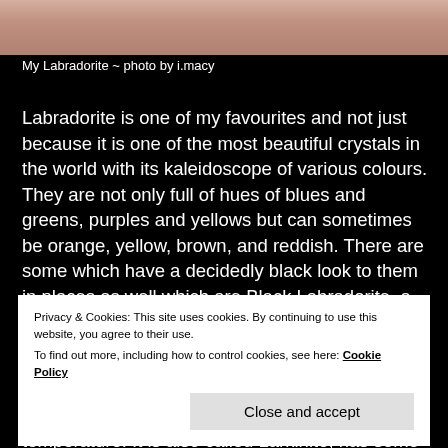[Figure (photo): Close-up photo of labradorite crystal being held, showing skin and dark background]
My Labradorite ~ photo by i.macy
Labradorite is one of my favourites and not just because it is one of the most beautiful crystals in the world with its kaleidoscope of various colours. They are not only full of hues of blues and greens, purples and yellows but can sometimes be orange, yellow, brown, and reddish. There are some which have a decidedly black look to them in places as well which are Black Labradorite, a
Privacy & Cookies: This site uses cookies. By continuing to use this website, you agree to their use.
To find out more, including how to control cookies, see here: Cookie Policy

Close and accept
temperature. It is also called Larkinite, has some